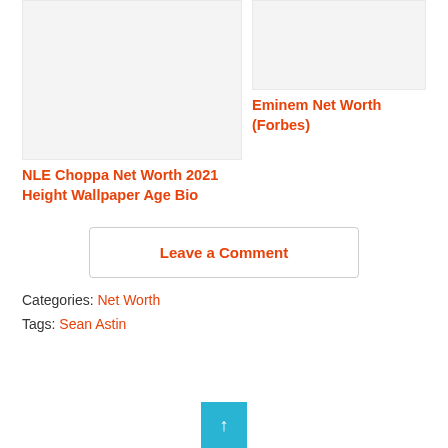[Figure (photo): Thumbnail image placeholder for NLE Choppa article, light gray background]
[Figure (photo): Thumbnail image placeholder for Eminem Net Worth article, light gray background]
Eminem Net Worth (Forbes)
NLE Choppa Net Worth 2021 Height Wallpaper Age Bio
Leave a Comment
Categories: Net Worth
Tags: Sean Astin